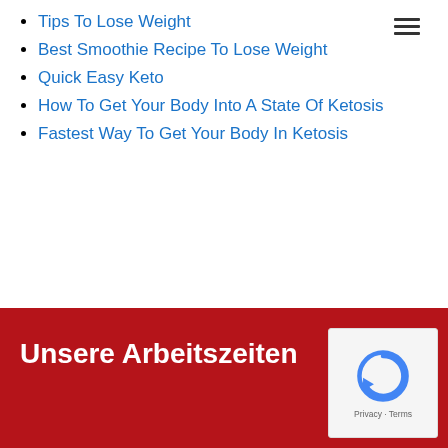Tips To Lose Weight
Best Smoothie Recipe To Lose Weight
Quick Easy Keto
How To Get Your Body Into A State Of Ketosis
Fastest Way To Get Your Body In Ketosis
Unsere Arbeitszeiten